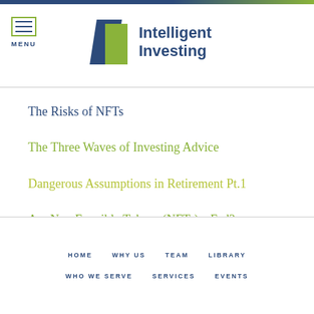Intelligent Investing
The Risks of NFTs
The Three Waves of Investing Advice
Dangerous Assumptions in Retirement Pt.1
Are Non Fungible Tokens (NFTs) a Fad?
How Riskalyze Empowers Investors
HOME   WHY US   TEAM   LIBRARY   WHO WE SERVE   SERVICES   EVENTS